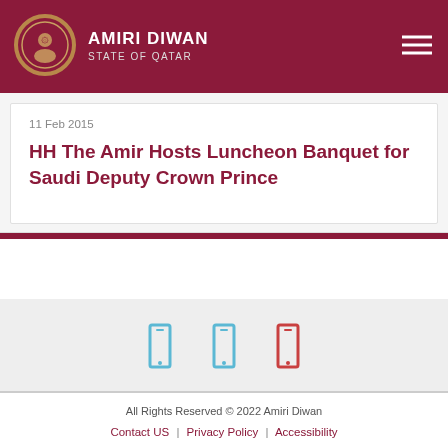AMIRI DIWAN STATE OF QATAR
11 Feb 2015
HH The Amir Hosts Luncheon Banquet for Saudi Deputy Crown Prince
[Figure (logo): Three social media icons: Twitter (blue outline), unknown (blue outline), YouTube (red outline)]
All Rights Reserved © 2022 Amiri Diwan Contact US | Privacy Policy | Accessibility